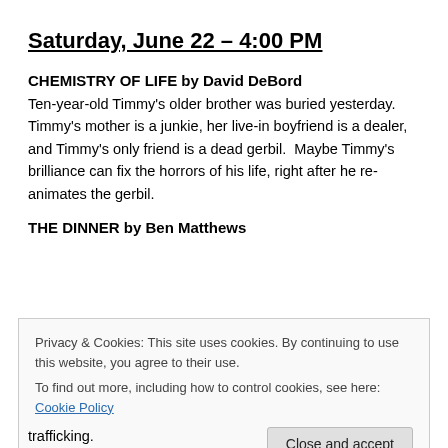Saturday, June 22 – 4:00 PM
CHEMISTRY OF LIFE by David DeBord
Ten-year-old Timmy's older brother was buried yesterday. Timmy's mother is a junkie, her live-in boyfriend is a dealer, and Timmy's only friend is a dead gerbil.  Maybe Timmy's brilliance can fix the horrors of his life, right after he re-animates the gerbil.
THE DINNER by Ben Matthews
Privacy & Cookies: This site uses cookies. By continuing to use this website, you agree to their use.
To find out more, including how to control cookies, see here: Cookie Policy
trafficking.